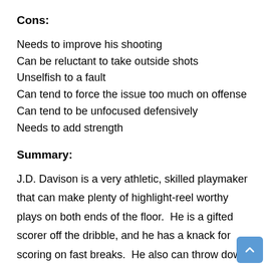Cons:
Needs to improve his shooting
Can be reluctant to take outside shots
Unselfish to a fault
Can tend to force the issue too much on offense
Can tend to be unfocused defensively
Needs to add strength
Summary:
J.D. Davison is a very athletic, skilled playmaker that can make plenty of highlight-reel worthy plays on both ends of the floor.  He is a gifted scorer off the dribble, and he has a knack for scoring on fast breaks.  He also can throw down mesmerizing dunks, and he also can roam in to